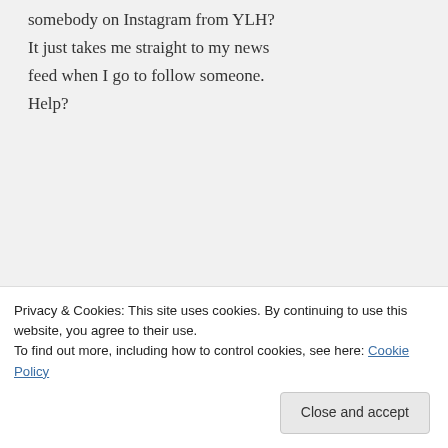somebody on Instagram from YLH? It just takes me straight to my news feed when I go to follow someone. Help?
youlikehits on May 28, 2013 at 7:45 pm
Make sure you're already logged in to Instagram before trying to follow
Privacy & Cookies: This site uses cookies. By continuing to use this website, you agree to their use.
To find out more, including how to control cookies, see here: Cookie Policy